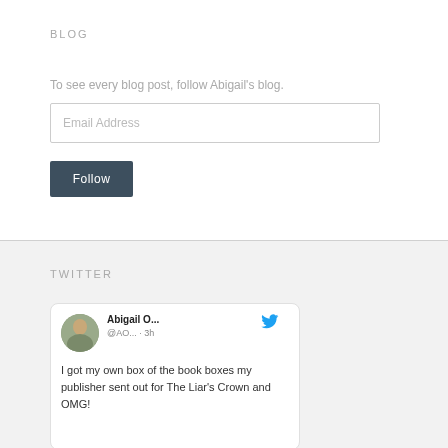BLOG
To see every blog post, follow Abigail's blog.
Email Address
Follow
TWITTER
Abigail O... @AO... · 3h I got my own box of the book boxes my publisher sent out for The Liar's Crown and OMG!